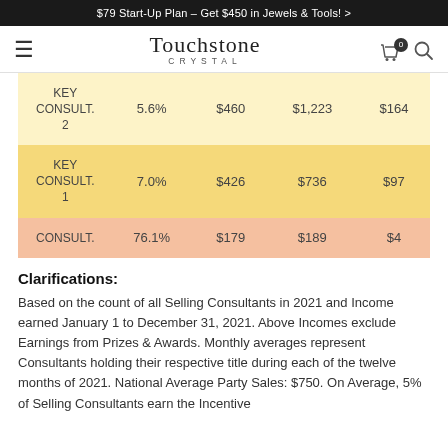$79 Start-Up Plan – Get $450 in Jewels & Tools! >
[Figure (logo): Touchstone Crystal logo with hamburger menu, cart icon with badge '0', and search icon]
|  |  |  |  |  |
| --- | --- | --- | --- | --- |
| KEY CONSULT. 2 | 5.6% | $460 | $1,223 | $164 |
| KEY CONSULT. 1 | 7.0% | $426 | $736 | $97 |
| CONSULT. | 76.1% | $179 | $189 | $4 |
Clarifications:
Based on the count of all Selling Consultants in 2021 and Income earned January 1 to December 31, 2021. Above Incomes exclude Earnings from Prizes & Awards. Monthly averages represent Consultants holding their respective title during each of the twelve months of 2021. National Average Party Sales: $750. On Average, 5% of Selling Consultants earn the Incentive